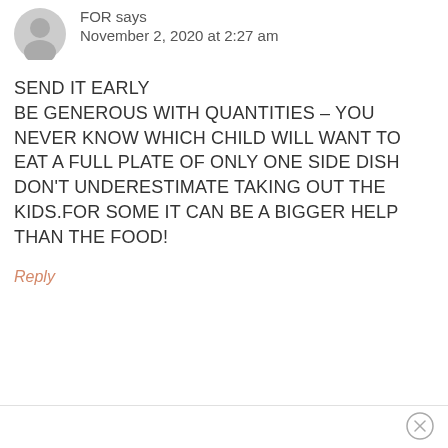[Figure (illustration): Gray circular avatar placeholder icon for a user]
FOR says
November 2, 2020 at 2:27 am
SEND IT EARLY
BE GENEROUS WITH QUANTITIES – YOU NEVER KNOW WHICH CHILD WILL WANT TO EAT A FULL PLATE OF ONLY ONE SIDE DISH
DON'T UNDERESTIMATE TAKING OUT THE KIDS.FOR SOME IT CAN BE A BIGGER HELP THAN THE FOOD!
Reply